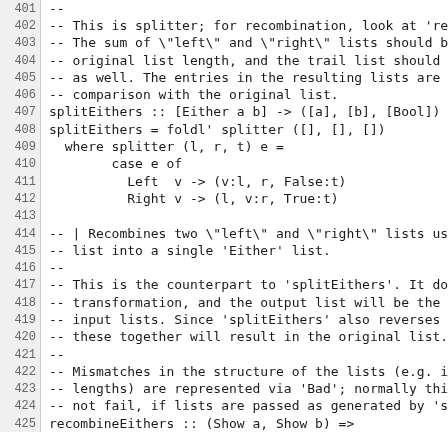Source code listing lines 401-425, Haskell code for splitEithers and recombineEithers functions with comments